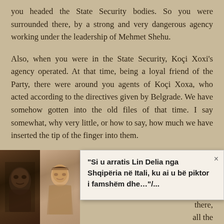you headed the State Security bodies. So you were surrounded there, by a strong and very dangerous agency working under the leadership of Mehmet Shehu.
Also, when you were in the State Security, Koçi Xoxi's agency operated. At that time, being a loyal friend of the Party, there were around you agents of Koçi Xoxa, who acted according to the directives given by Belgrade. We have somehow gotten into the old files of that time. I say somewhat, why very little, or how to say, how much we have inserted the tip of the finger into them.
By this I mean that you have a great responsibility for
[Figure (photo): Two images side by side: left is a dark photo of an older man's face, right is a painting/illustration of a woman in traditional style]
“Si u arratis Lin Delia nga Shqipëria në Itali, ku ai u bë piktor i famshëm dhe…”/...